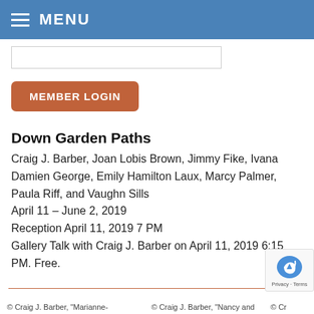MENU
[Figure (screenshot): Search input box]
MEMBER LOGIN
Down Garden Paths
Craig J. Barber, Joan Lobis Brown, Jimmy Fike, Ivana Damien George, Emily Hamilton Laux, Marcy Palmer, Paula Riff, and Vaughn Sills
April 11 – June 2, 2019
Reception April 11, 2019 7 PM
Gallery Talk with Craig J. Barber on April 11, 2019 6:15 PM. Free.
© Craig J. Barber, "Marianne-   © Craig J. Barber, "Nancy and   © Cr